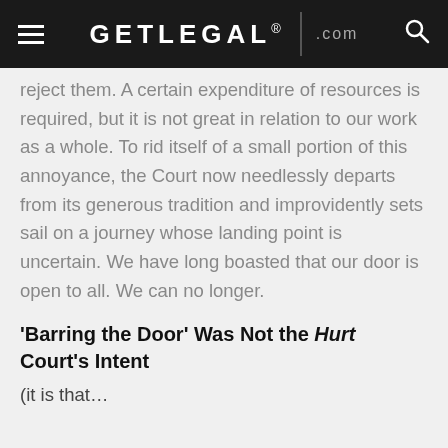GETLEGAL®.com
reject them. A certain expenditure of resources is required, but it is not great in relation to our work as a whole. To rid itself of a small portion of this annoyance, the Court now needlessly departs from its generous tradition and improvidently sets sail on a journey whose landing point is uncertain. We have long boasted that our door is open to all. We can no longer.
'Barring the Door' Was Not the Hurt Court's Intent
(cut off at bottom)